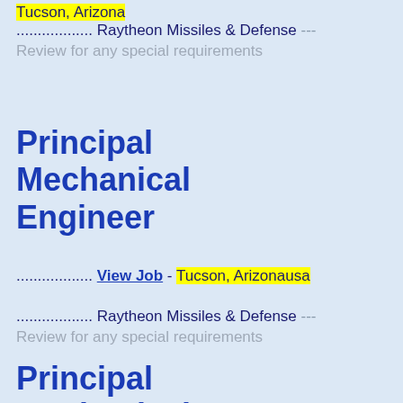Tucson, Arizona
.................. Raytheon Missiles & Defense --- Review for any special requirements
Principal Mechanical Engineer
.................. View Job - Tucson, Arizonausa
.................. Raytheon Missiles & Defense --- Review for any special requirements
Principal Mechanical